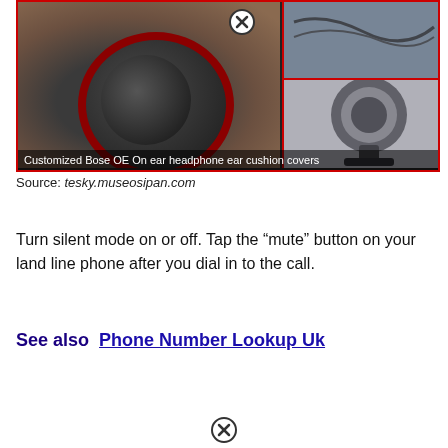[Figure (photo): Collage of headphone photos: main large image showing customized Bose OE on-ear headphones with red-accented ear cushion covers in a case, top-right small image showing headphone cables, bottom-right image showing headphones on a stand/mount. Caption reads: Customized Bose OE On ear headphone ear cushion covers]
Source: tesky.museosipan.com
Turn silent mode on or off. Tap the "mute" button on your land line phone after you dial in to the call.
See also  Phone Number Lookup Uk